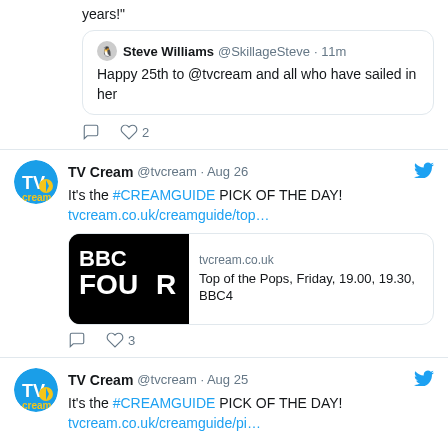years!"
Steve Williams @SkillageSteve · 11m
Happy 25th to @tvcream and all who have sailed in her
♡ 2
TV Cream @tvcream · Aug 26
It's the #CREAMGUIDE PICK OF THE DAY!
tvcream.co.uk/creamguide/top…
[Figure (screenshot): BBC Four logo link card with text: tvcream.co.uk / Top of the Pops, Friday, 19.00, 19.30, BBC4]
♡ 3
TV Cream @tvcream · Aug 25
It's the #CREAMGUIDE PICK OF THE DAY!